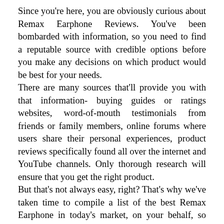Since you're here, you are obviously curious about Remax Earphone Reviews. You've been bombarded with information, so you need to find a reputable source with credible options before you make any decisions on which product would be best for your needs. There are many sources that'll provide you with that information- buying guides or ratings websites, word-of-mouth testimonials from friends or family members, online forums where users share their personal experiences, product reviews specifically found all over the internet and YouTube channels. Only thorough research will ensure that you get the right product. But that's not always easy, right? That's why we've taken time to compile a list of the best Remax Earphone in today's market, on your behalf, so that there will be no more worries